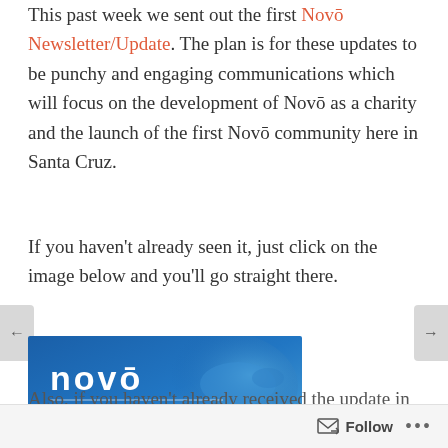This past week we sent out the first Novō Newsletter/Update. The plan is for these updates to be punchy and engaging communications which will focus on the development of Novō as a charity and the launch of the first Novō community here in Santa Cruz.
If you haven't already seen it, just click on the image below and you'll go straight there.
[Figure (illustration): Novō News Update March 2016 banner image with blue watercolor background and a fish, showing the novō logo and subtitle 'News Update // March 2016']
Also, if you haven't already received the update in
Follow ...